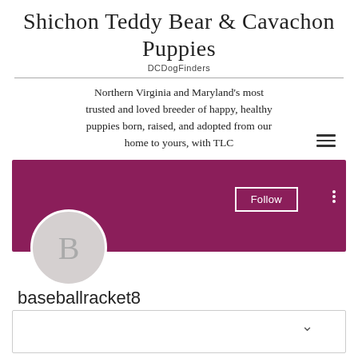Shichon Teddy Bear & Cavachon Puppies
DCDogFinders
Northern Virginia and Maryland's most trusted and loved breeder of happy, healthy puppies born, raised, and adopted from our home to yours, with TLC
[Figure (screenshot): Social media profile page section showing a magenta/purple banner, a circular avatar with letter B, a Follow button, and username baseballracket8 with 0 Followers and 0 Following]
baseballracket8
0 Followers • 0 Following